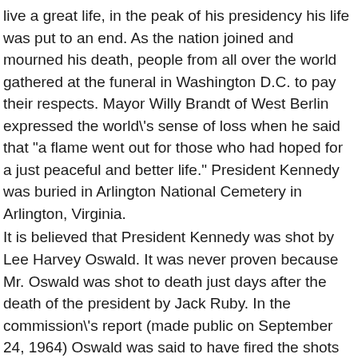live a great life, in the peak of his presidency his life was put to an end. As the nation joined and mourned his death, people from all over the world gathered at the funeral in Washington D.C. to pay their respects. Mayor Willy Brandt of West Berlin expressed the world's sense of loss when he said that "a flame went out for those who had hoped for a just peaceful and better life." President Kennedy was buried in Arlington National Cemetery in Arlington, Virginia.
It is believed that President Kennedy was shot by Lee Harvey Oswald. It was never proven because Mr. Oswald was shot to death just days after the death of the president by Jack Ruby. In the commission's report (made public on September 24, 1964) Oswald was said to have fired the shots that killed John F. Kennedy.
Furthermore, the committee stated that they "found no